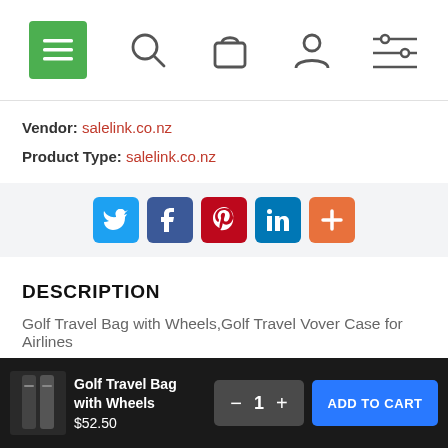Navigation bar with menu, search, cart, account, and filter icons
Vendor: salelink.co.nz
Product Type: salelink.co.nz
[Figure (infographic): Social share buttons: Twitter (blue), Facebook (dark blue), Pinterest (red), LinkedIn (teal), Plus/More (orange)]
DESCRIPTION
Golf Travel Bag with Wheels,Golf Travel Vover Case for Airlines
[Figure (infographic): Bottom cart bar: Golf Travel Bag with Wheels product thumbnail, title, $52.50 price, quantity control (minus 1 plus), ADD TO CART button]